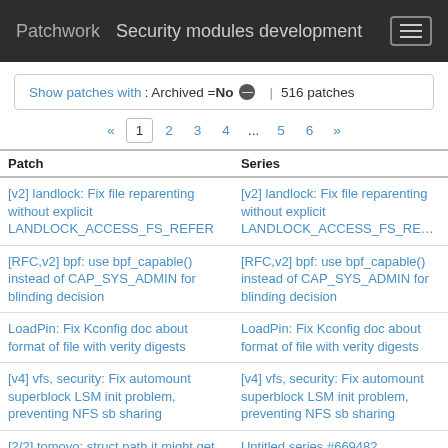Patchwork   Security modules development
Show patches with: Archived = No | 516 patches
« 1 2 3 4 ... 5 6 »
| Patch | Series |
| --- | --- |
| [v2] landlock: Fix file reparenting without explicit LANDLOCK_ACCESS_FS_REFER | [v2] landlock: Fix file reparenting without explicit LANDLOCK_ACCESS_FS_RE… |
| [RFC,v2] bpf: use bpf_capable() instead of CAP_SYS_ADMIN for blinding decision | [RFC,v2] bpf: use bpf_capable() instead of CAP_SYS_ADMIN for blinding decision |
| LoadPin: Fix Kconfig doc about format of file with verity digests | LoadPin: Fix Kconfig doc about format of file with verity digests |
| [v4] vfs, security: Fix automount superblock LSM init problem, preventing NFS sb sharing | [v4] vfs, security: Fix automount superblock LSM init problem, preventing NFS sb sharing |
| [2/2] tomoyo: struct path it might get from LSM callers won't have | Untitled series #669482 |